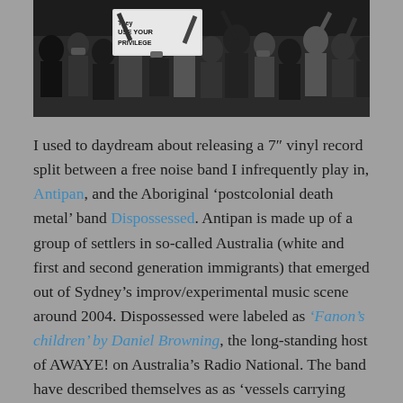[Figure (photo): Black and white photograph of a protest crowd. A sign reading 'USE YOUR PRIVILEGE' is visible among the protesters.]
I used to daydream about releasing a 7" vinyl record split between a free noise band I infrequently play in, Antipan, and the Aboriginal 'postcolonial death metal' band Dispossessed. Antipan is made up of a group of settlers in so-called Australia (white and first and second generation immigrants) that emerged out of Sydney's improv/experimental music scene around 2004. Dispossessed were labeled as 'Fanon's children' by Daniel Browning, the long-standing host of AWAYE! on Australia's Radio National. The band have described themselves as as 'vessels carrying our ancestor's wrath, sorrow and vengeance' and as a platform for a wider